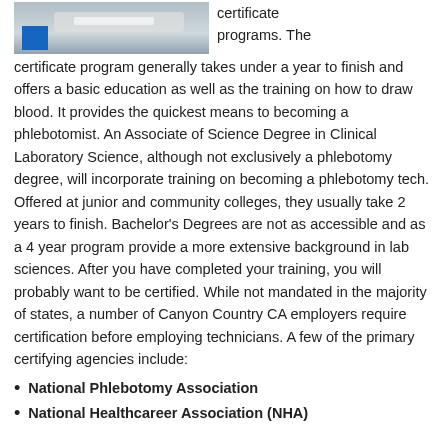[Figure (photo): A grayscale photo of a phlebotomy or lab setting with a blue square element visible in the lower left.]
certificate programs. The certificate program generally takes under a year to finish and offers a basic education as well as the training on how to draw blood. It provides the quickest means to becoming a phlebotomist. An Associate of Science Degree in Clinical Laboratory Science, although not exclusively a phlebotomy degree, will incorporate training on becoming a phlebotomy tech. Offered at junior and community colleges, they usually take 2 years to finish. Bachelor's Degrees are not as accessible and as a 4 year program provide a more extensive background in lab sciences. After you have completed your training, you will probably want to be certified. While not mandated in the majority of states, a number of Canyon Country CA employers require certification before employing technicians. A few of the primary certifying agencies include:
National Phlebotomy Association
National Healthcareer Association (NHA)